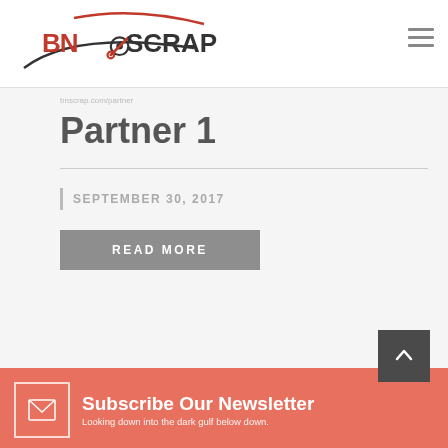[Figure (logo): BN Scrap logo with wrench/gear icon, red and black text]
Partner 1
SEPTEMBER 30, 2017
READ MORE
Subscribe Our Newsletter
Looking down into the dark gulf below down.